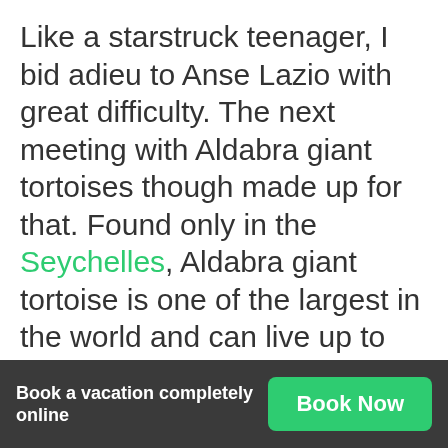Like a starstruck teenager, I bid adieu to Anse Lazio with great difficulty. The next meeting with Aldabra giant tortoises though made up for that. Found only in the Seychelles, Aldabra giant tortoise is one of the largest in the world and can live up to 200...
Book a vacation completely online
Book Now